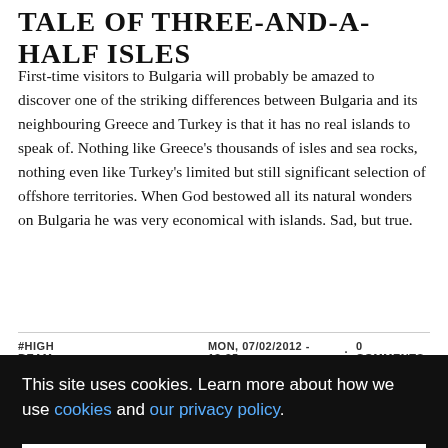TALE OF THREE-AND-A-HALF ISLES
First-time visitors to Bulgaria will probably be amazed to discover one of the striking differences between Bulgaria and its neighbouring Greece and Turkey is that it has no real islands to speak of. Nothing like Greece's thousands of isles and sea rocks, nothing even like Turkey's limited but still significant selection of offshore territories. When God bestowed all its natural wonders on Bulgaria he was very economical with islands. Sad, but true.
#HIGH BEAM   MON, 07/02/2012 - 13:35 · 0 COMMENTS
This site uses cookies. Learn more about how we use cookies and our privacy policy.
Got it!